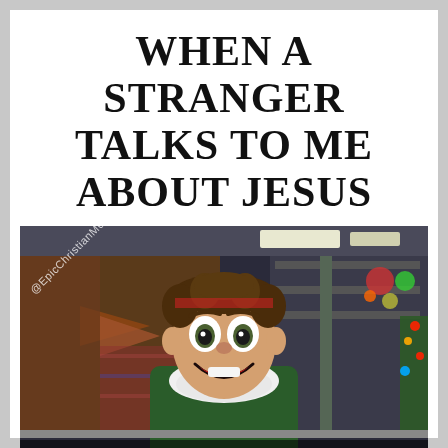WHEN A STRANGER TALKS TO ME ABOUT JESUS
[Figure (photo): Movie still from 'Elf' (2003) showing Will Ferrell as Buddy the Elf in a green costume with white fur collar, wide-eyed excited expression, in a colorful Christmas store setting. Watermark '@EpicChristianMemes' in bottom-left area.]
I KNOW HIM